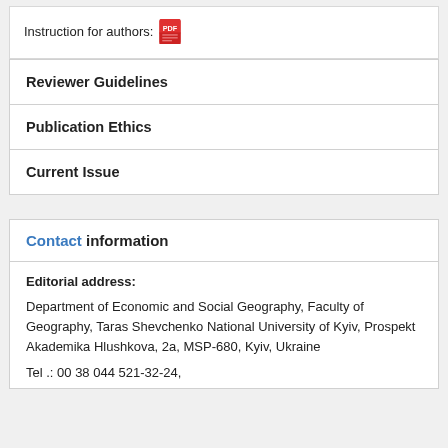Instruction for authors: [PDF icon]
Reviewer Guidelines
Publication Ethics
Current Issue
Contact information
Editorial address:
Department of Economic and Social Geography, Faculty of Geography, Taras Shevchenko National University of Kyiv, Prospekt Akademika Hlushkova, 2a, MSP-680, Kyiv, Ukraine
Tel .: 00 38 044 521-32-24,